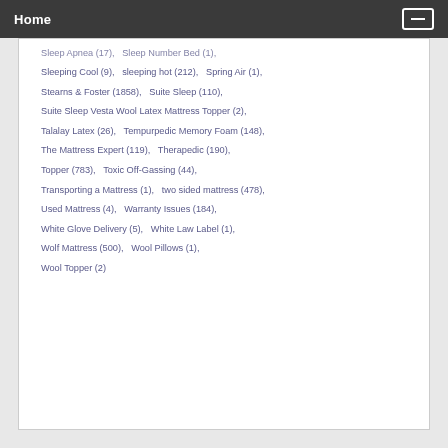Home
Sleep Apnea (17),   Sleep Number Bed (1),
Sleeping Cool (9),   sleeping hot (212),   Spring Air (1),
Stearns & Foster (1858),   Suite Sleep (110),
Suite Sleep Vesta Wool Latex Mattress Topper (2),
Talalay Latex (26),   Tempurpedic Memory Foam (148),
The Mattress Expert (119),   Therapedic (190),
Topper (783),   Toxic Off-Gassing (44),
Transporting a Mattress (1),   two sided mattress (478),
Used Mattress (4),   Warranty Issues (184),
White Glove Delivery (5),   White Law Label (1),
Wolf Mattress (500),   Wool Pillows (1),
Wool Topper (2)